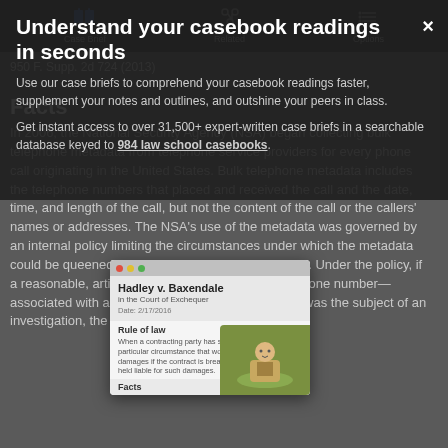Case Brief | Related | Options
Understand your casebook readings in seconds ×
950 F. Supp. 2d 724 (2013)
Facts
In 2006, the National Security Agency (NSA) began collecting bulk telephone metadata from telephone service providers for every phone call originating in the United States. Bulk telephone metadata includes the telephone numbers that placed and received the call and the date, time, and length of the call, but not the content of the call or the callers' names or addresses. The NSA's use of the metadata was governed by an internal policy limiting the circumstances under which the metadata could be queened as well as the scope of any query. Under the policy, if a reasonable, articulable suspicion existed that a phone number was associated with a foreign terrorist organization that was the subject of an investigation, the metadata database could be
Use our case briefs to comprehend your casebook readings faster, supplement your notes and outlines, and outshine your peers in class.
Get instant access to over 31,500+ expert-written case briefs in a searchable database keyed to 984 law school casebooks.
[Figure (screenshot): Small popup card showing 'Hadley v. Baxendale' case brief preview with Rule of law and Facts sections, and a character illustration on olive/green background]